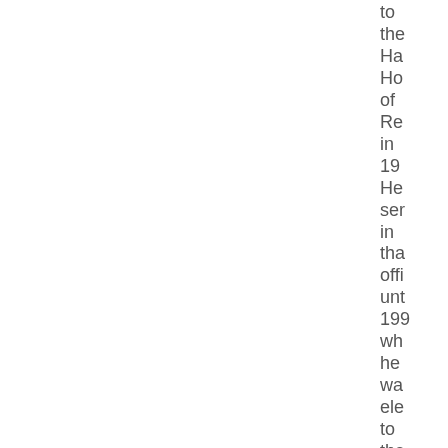to the Ha Ho of Re in 19 He ser in tha offi unt 199 wh he wa ele to the Un Sta Ho of